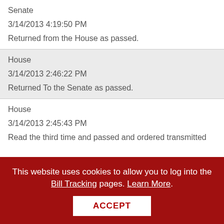| Senate | 3/14/2013 4:19:50 PM | Returned from the House as passed. |
| House | 3/14/2013 2:46:22 PM | Returned To the Senate as passed. |
| House | 3/14/2013 2:45:43 PM | Read the third time and passed and ordered transmitted |
This website uses cookies to allow you to log into the Bill Tracking pages. Learn More.